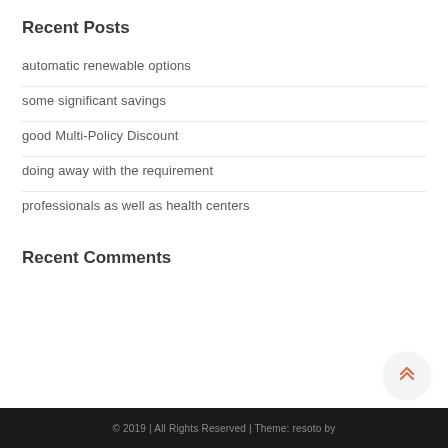Recent Posts
automatic renewable options
some significant savings
good Multi-Policy Discount
doing away with the requirement
professionals as well as health centers
Recent Comments
© 2019 | All Rights Reserved | Theme: resoto by